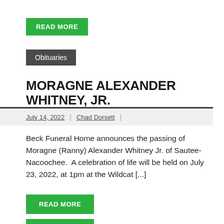READ MORE
Obituaries
MORAGNE ALEXANDER WHITNEY, JR.
July 14, 2022 | Chad Dorsett |
Beck Funeral Home announces the passing of Moragne (Ranny) Alexander Whitney Jr. of Sautee-Nacoochee.  A celebration of life will be held on July 23, 2022, at 1pm at the Wildcat [...]
READ MORE
READ MORE